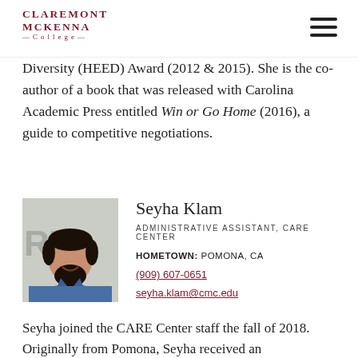Claremont McKenna College
Diversity (HEED) Award (2012 & 2015). She is the co-author of a book that was released with Carolina Academic Press entitled Win or Go Home (2016), a guide to competitive negotiations.
[Figure (photo): Headshot photo of Seyha Klam, a man with dark hair and beard wearing a denim shirt, smiling in front of a light gray background.]
Seyha Klam
ADMINISTRATIVE ASSISTANT, CARE CENTER
HOMETOWN: POMONA, CA
(909) 607-0651
seyha.klam@cmc.edu
Seyha joined the CARE Center staff the fall of 2018. Originally from Pomona, Seyha received an